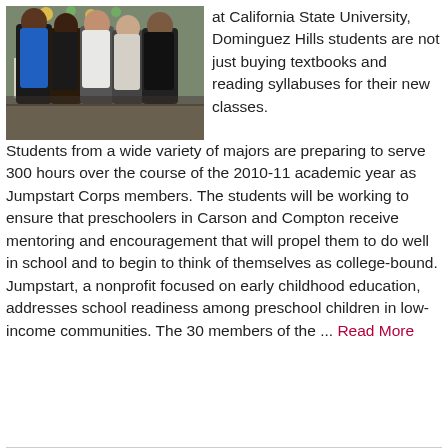[Figure (photo): Group of students standing together indoors in front of a banner that reads 'JOIN', smiling at the camera.]
at California State University, Dominguez Hills students are not just buying textbooks and reading syllabuses for their new classes. Students from a wide variety of majors are preparing to serve 300 hours over the course of the 2010-11 academic year as Jumpstart Corps members. The students will be working to ensure that preschoolers in Carson and Compton receive mentoring and encouragement that will propel them to do well in school and to begin to think of themselves as college-bound. Jumpstart, a nonprofit focused on early childhood education, addresses school readiness among preschool children in low-income communities. The 30 members of the ... Read More